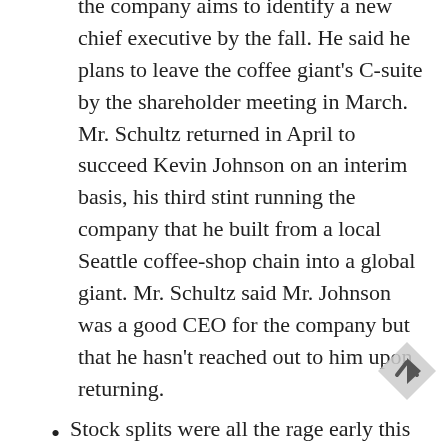the company aims to identify a new chief executive by the fall. He said he plans to leave the coffee giant's C-suite by the shareholder meeting in March. Mr. Schultz returned in April to succeed Kevin Johnson on an interim basis, his third stint running the company that he built from a local Seattle coffee-shop chain into a global giant. Mr. Schultz said Mr. Johnson was a good CEO for the company but that he hasn't reached out to him upon returning.
Stock splits were all the rage early this year as indexes hovered near record highs, with companies from Amazon.com Inc. to Alphabet Inc. announcing them to make their share prices more alluring to individual investors. A few months on, the market has taken care of the problem. Amazon, whose 20-for-1 split takes effect